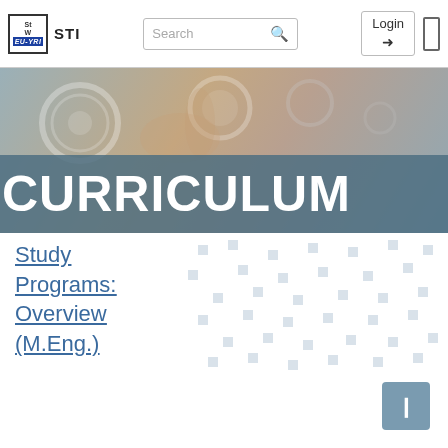[Figure (screenshot): Navigation bar with STW EU-YRI STI logo, search box, and login button]
[Figure (photo): Hero banner image showing technology/digital interface with semi-transparent blue overlay and large white text reading CURRICULUM]
Study Programs: Overview (M.Eng.)